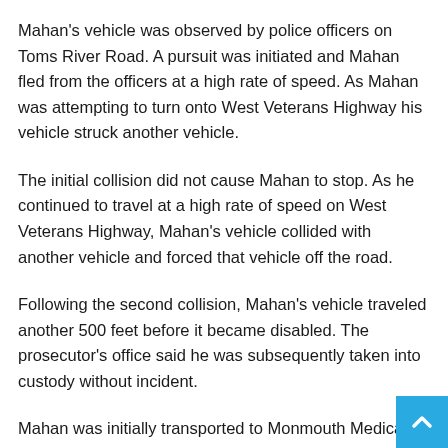Mahan's vehicle was observed by police officers on Toms River Road. A pursuit was initiated and Mahan fled from the officers at a high rate of speed. As Mahan was attempting to turn onto West Veterans Highway his vehicle struck another vehicle.
The initial collision did not cause Mahan to stop. As he continued to travel at a high rate of speed on West Veterans Highway, Mahan's vehicle collided with another vehicle and forced that vehicle off the road.
Following the second collision, Mahan's vehicle traveled another 500 feet before it became disabled. The prosecutor's office said he was subsequently taken into custody without incident.
Mahan was initially transported to Monmouth Medical Cent…